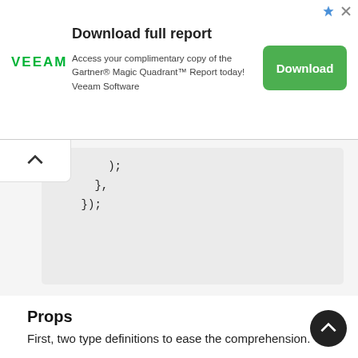[Figure (other): Veeam ad banner: Download full report. Access your complimentary copy of the Gartner Magic Quadrant Report today! Veeam Software. Green Download button.]
);
    },
  });
Props
First, two type definitions to ease the comprehension.
TransitionStyle : an object of the format {key: string, data?: any, style: Style} .
key : required. The ID that TransitionMotion uses to track which configuration is which across renders, even when this component is moved. Typically a model id.